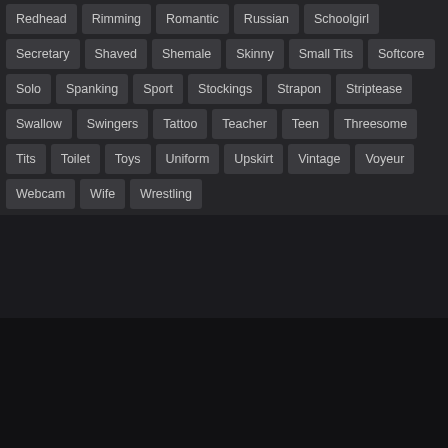Redhead | Rimming | Romantic | Russian | Schoolgirl | Secretary | Shaved | Shemale | Skinny | Small Tits | Softcore | Solo | Spanking | Sport | Stockings | Strapon | Striptease | Swallow | Swingers | Tattoo | Teacher | Teen | Threesome | Tits | Toilet | Toys | Uniform | Upskirt | Vintage | Voyeur | Webcam | Wife | Wrestling